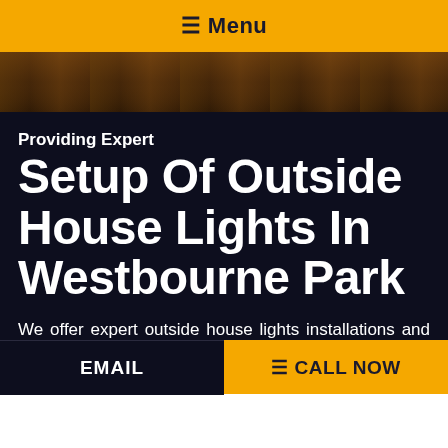☰ Menu
[Figure (photo): Dark wooden surface / decking photo strip used as hero background]
Providing Expert
Setup Of Outside House Lights In Westbourne Park
We offer expert outside house lights installations and solutions to Westbourne Park residents. Our licensed electricians in Westbourne Park are completely qualified and insured to give you a wide range of
EMAIL   ☰ CALL NOW